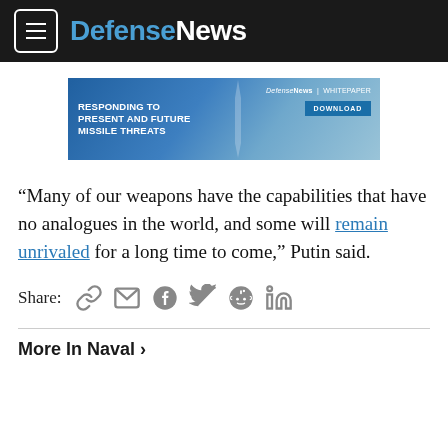DefenseNews
[Figure (infographic): Defense News whitepaper advertisement banner: 'RESPONDING TO PRESENT AND FUTURE MISSILE THREATS' with a missile image, DefenseNews | WHITEPAPER branding, and a DOWNLOAD button]
“Many of our weapons have the capabilities that have no analogues in the world, and some will remain unrivaled for a long time to come,” Putin said.
Share:
More In Naval ›